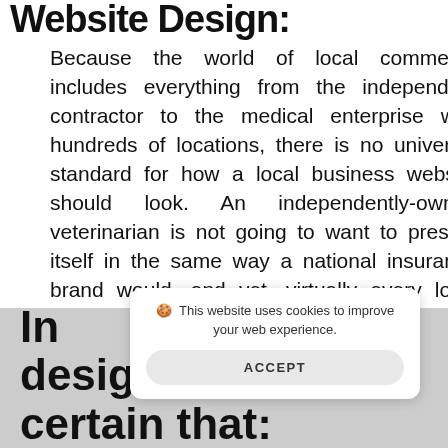Website Design:
Because the world of local commerce includes everything from the independent contractor to the medical enterprise with hundreds of locations, there is no universal standard for how a local business website should look. An independently-owned veterinarian is not going to want to present itself in the same way a national insurance brand would, and yet, virtually every local business model is unified by the need to make a compelling, user-friendly offering with the website that acts as such a critical vehicle for customer service.
[Figure (screenshot): Cookie consent banner overlay reading 'This website uses cookies to improve your web experience.' with an ACCEPT button]
In design solution, be certain that: